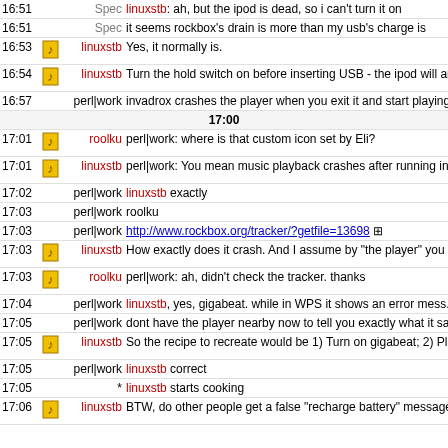| Time | Icon | Nick | Message |
| --- | --- | --- | --- |
| 16:51 |  | Spec | linuxstb: ah, but the ipod is dead, so i can't turn it on |
| 16:51 |  | Spec | it seems rockbox's drain is more than my usb's charge is |
| 16:53 | [icon] | linuxstb | Yes, it normally is. |
| 16:54 | [icon] | linuxstb | Turn the hold switch on before inserting USB - the ipod will and then when it has enough charge, it will boot into the App firmware and continue. |
| 16:57 |  | perl|work | invadrox crashes the player when you exit it and start playing |
|  |  |  | 17:00 |
| 17:01 | [icon] | roolku | perl|work: where is that custom icon set by Eli? |
| 17:01 | [icon] | linuxstb | perl|work: You mean music playback crashes after running invadrox? |
| 17:02 |  | perl|work | linuxstb exactly |
| 17:03 |  | perl|work | roolku |
| 17:03 |  | perl|work | http://www.rockbox.org/tracker/?getfile=13698 |
| 17:03 | [icon] | linuxstb | How exactly does it crash. And I assume by "the player" you your gigabeat? |
| 17:03 | [icon] | roolku | perl|work: ah, didn't check the tracker. thanks |
| 17:04 |  | perl|work | linuxstb, yes, gigabeat. while in WPS it shows an error mess. the upper left corner and locks all the buttons |
| 17:05 |  | perl|work | dont have the player nearby now to tell you exactly what it sa |
| 17:05 | [icon] | linuxstb | So the recipe to recreate would be 1) Turn on gigabeat; 2) Pl. invadrox; 3) Exit invadrox and attempt music playback ? |
| 17:05 |  | perl|work | linuxstb correct |
| 17:05 |  | * | linuxstb starts cooking |
| 17:06 | [icon] | linuxstb | BTW, do other people get a false "recharge battery" message |